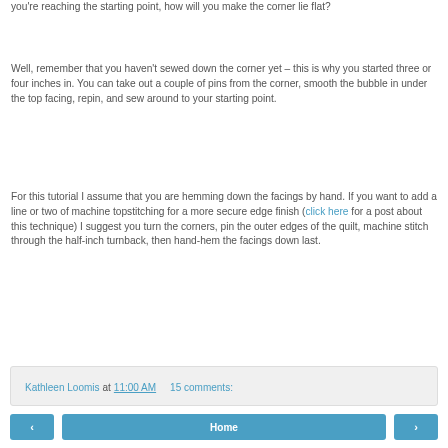you're reaching the starting point, how will you make the corner lie flat?
Well, remember that you haven't sewed down the corner yet – this is why you started three or four inches in. You can take out a couple of pins from the corner, smooth the bubble in under the top facing, repin, and sew around to your starting point.
For this tutorial I assume that you are hemming down the facings by hand. If you want to add a line or two of machine topstitching for a more secure edge finish (click here for a post about this technique) I suggest you turn the corners, pin the outer edges of the quilt, machine stitch through the half-inch turnback, then hand-hem the facings down last.
Kathleen Loomis at 11:00 AM   15 comments:
< Home >